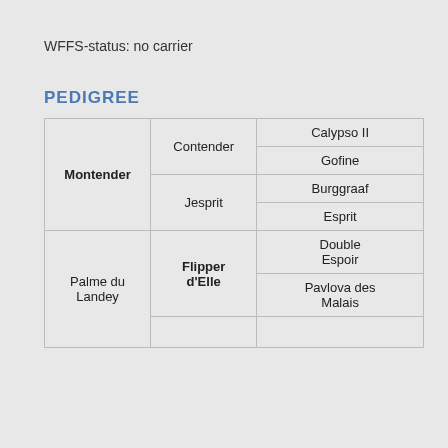WFFS-status: no carrier
PEDIGREE
| Col1 | Col2 | Col3 |
| --- | --- | --- |
| Montender | Contender | Calypso II |
| Montender | Contender | Gofine |
| Montender | Jesprit | Burggraaf |
| Montender | Jesprit | Esprit |
| Palme du Landey | Flipper d'Elle | Double Espoir |
| Palme du Landey | Flipper d'Elle | Pavlova des Malais |